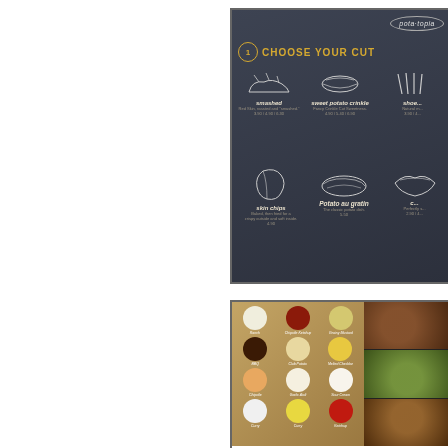[Figure (photo): Potatopia restaurant menu chalkboard showing 'CHOOSE YOUR CUT' section (step 1) with illustrated potato cut options: smashed, sweet potato crinkle, shoestring (partially visible), skin chips, Potato au gratin, and a partially visible 6th item. Each item has a chalk-style illustration, name, description, and pricing. Logo 'pota·topia' in oval top right.]
[Figure (photo): Two-part restaurant image: left side shows overhead view of multiple small white bowls of dipping sauces on a wooden board (Ranch, Chipotle Ketchup, Grainy Mustard, BBQ, Club Potato, Melted Cheddar, Chipotle, Garlic Aioli, Sour Cream, Curry, Ketchup and more); right side shows three food photos stacked vertically showing prepared potato dishes.]